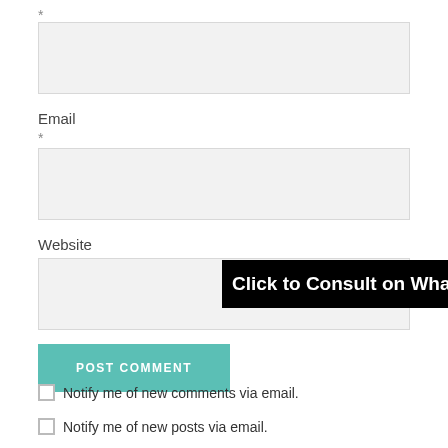*
[Figure (screenshot): Empty text input box (first field, top)]
Email
*
[Figure (screenshot): Empty text input box for Email]
Website
[Figure (screenshot): Empty text input box for Website]
[Figure (screenshot): Black banner overlay: Click to Consult on Whatsapp]
[Figure (screenshot): POST COMMENT button in teal/green color]
Notify me of new comments via email.
Notify me of new posts via email.